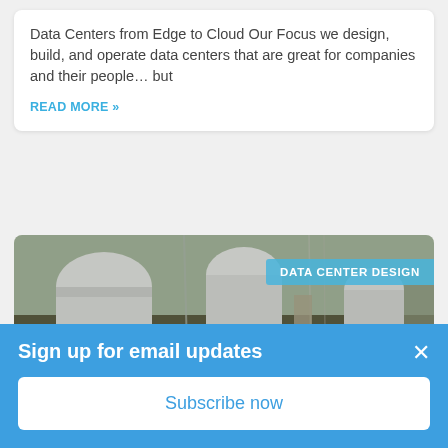Data Centers from Edge to Cloud Our Focus we design, build, and operate data centers that are great for companies and their people… but
READ MORE »
[Figure (photo): Photo of data center infrastructure showing white pipes, cables, and metal structures with a 'DATA CENTER DESIGN' label badge in the upper right]
Sign up for email updates
Subscribe now